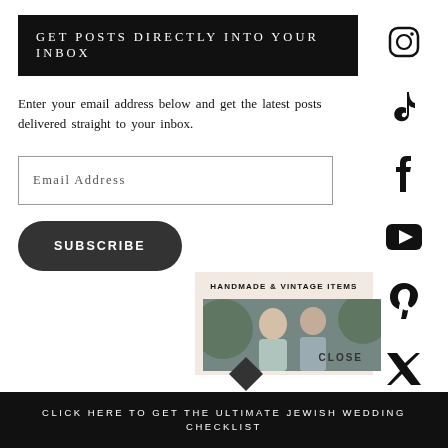GET POSTS DIRECTLY INTO YOUR INBOX
Enter your email address below and get the latest posts delivered straight to your inbox.
Email Address
SUBSCRIBE
[Figure (infographic): Social media sidebar with icons for Instagram, TikTok, Facebook, YouTube, Pinterest, Twitter]
HANDMADE & VINTAGE ITEMS
[Figure (photo): Couple smiling outdoors, wedding photo]
CLOSE
CLICK HERE TO GET THE ULTIMATE JEWISH WEDDING CHECKLIST